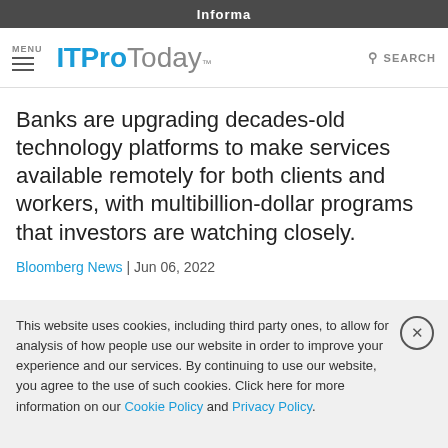Informa
MENU | ITProToday™ | SEARCH
Banks are upgrading decades-old technology platforms to make services available remotely for both clients and workers, with multibillion-dollar programs that investors are watching closely.
Bloomberg News | Jun 06, 2022
This website uses cookies, including third party ones, to allow for analysis of how people use our website in order to improve your experience and our services. By continuing to use our website, you agree to the use of such cookies. Click here for more information on our Cookie Policy and Privacy Policy.